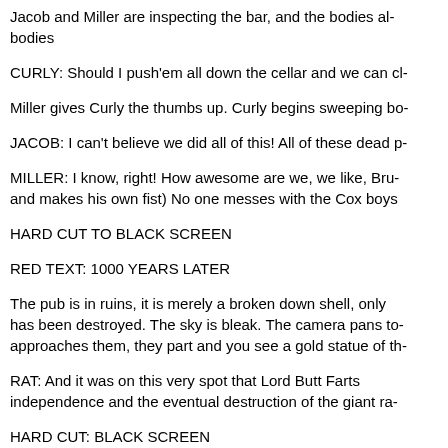Jacob and Miller are inspecting the bar, and the bodies al- bodies
CURLY: Should I push'em all down the cellar and we can cl-
Miller gives Curly the thumbs up. Curly begins sweeping bo-
JACOB: I can't believe we did all of this! All of these dead p-
MILLER: I know, right! How awesome are we, we like, Bru- and makes his own fist) No one messes with the Cox boys
HARD CUT TO BLACK SCREEN
RED TEXT: 1000 YEARS LATER
The pub is in ruins, it is merely a broken down shell, only has been destroyed. The sky is bleak. The camera pans to approaches them, they part and you see a gold statue of th-
RAT: And it was on this very spot that Lord Butt Farts independence and the eventual destruction of the giant ra-
HARD CUT: BLACK SCREEN